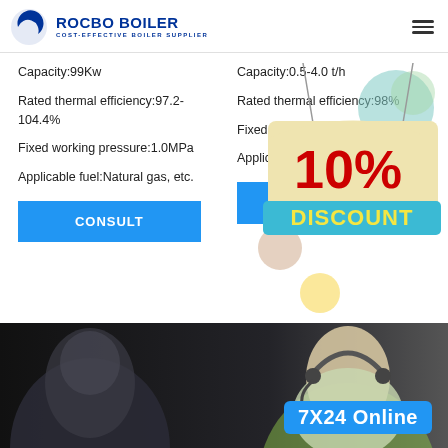[Figure (logo): Rocbo Boiler logo with crescent moon icon, text ROCBO BOILER COST-EFFECTIVE BOILER SUPPLIER in dark blue]
Capacity:99Kw
Rated thermal efficiency:97.2-104.4%
Fixed working pressure:1.0MPa
Applicable fuel:Natural gas, etc.
Capacity:0.5-4.0 t/h
Rated thermal efficiency:98%
Fixed working pressure:≤1.25MPa
Applicable fuel:electric energy
[Figure (infographic): 10% DISCOUNT promotional sticker/sign with colorful decorative bubbles (teal, pink, yellow, green)]
[Figure (photo): Bottom photo strip showing a customer support representative wearing a headset, smiling, with a 7X24 Online label in blue]
7X24 Online